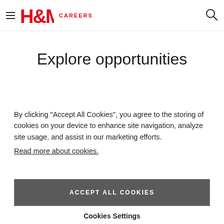H&M CAREERS
Explore opportunities
By clicking “Accept All Cookies”, you agree to the storing of cookies on your device to enhance site navigation, analyze site usage, and assist in our marketing efforts.
Read more about cookies.
ACCEPT ALL COOKIES
Cookies Settings